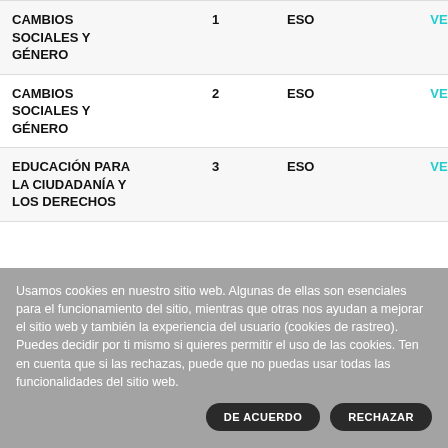| Nombre | Curso | Etapa |  |
| --- | --- | --- | --- |
| CAMBIOS SOCIALES Y GÉNERO | 1 | ESO | VER |
| CAMBIOS SOCIALES Y GÉNERO | 2 | ESO | VER |
| EDUCACIÓN PARA LA CIUDADANÍA Y LOS DERECHOS | 3 | ESO | VER |
Usamos cookies en nuestro sitio web. Algunas de ellas son esenciales para el funcionamiento del sitio, mientras que otras nos ayudan a mejorar el sitio web y también la experiencia del usuario (cookies de rastreo). Puedes decidir por ti mismo si quieres permitir el uso de las cookies. Ten en cuenta que si las rechazas, puede que no puedas usar todas las funcionalidades del sitio web.